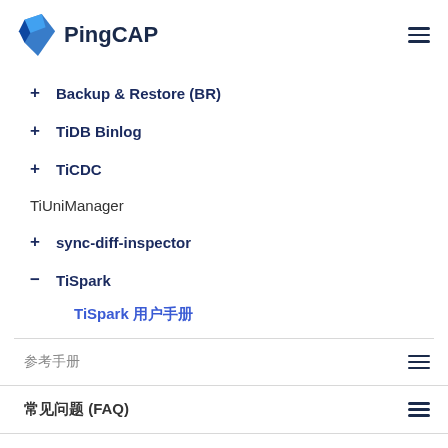PingCAP
+ Backup & Restore (BR)
+ TiDB Binlog
+ TiCDC
TiUniManager
+ sync-diff-inspector
- TiSpark
TiSpark 用户手册
参考手册
常见问题 (FAQ)
发布历史